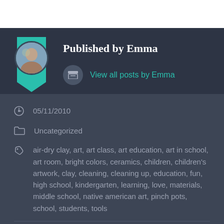Published by Emma
View all posts by Emma
05/11/2010
Uncategorized
air-dry clay, art, art class, art education, art in school, art room, bright colors, ceramics, children, children's artwork, clay, cleaning, cleaning up, education, fun, high school, kindergarten, learning, love, materials, middle school, native american art, pinch pots, school, students, tools